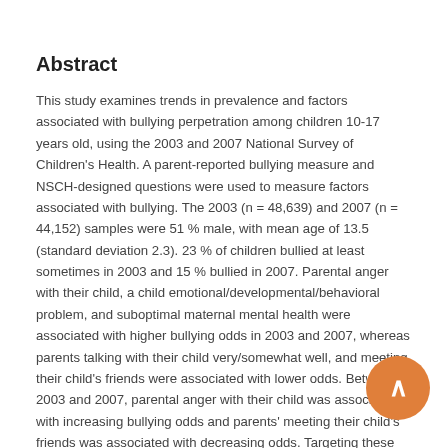Abstract
This study examines trends in prevalence and factors associated with bullying perpetration among children 10-17 years old, using the 2003 and 2007 National Survey of Children's Health. A parent-reported bullying measure and NSCH-designed questions were used to measure factors associated with bullying. The 2003 (n = 48,639) and 2007 (n = 44,152) samples were 51 % male, with mean age of 13.5 (standard deviation 2.3). 23 % of children bullied at least sometimes in 2003 and 15 % bullied in 2007. Parental anger with their child, a child emotional/developmental/behavioral problem, and suboptimal maternal mental health were associated with higher bullying odds in 2003 and 2007, whereas parents talking with their child very/somewhat well, and meeting their child's friends were associated with lower odds. Between 2003 and 2007, parental anger with their child was associated with increasing bullying odds and parents' meeting their child's friends was associated with decreasing odds. Targeting these persistent factors may result in effective bullying-prevention interventions.